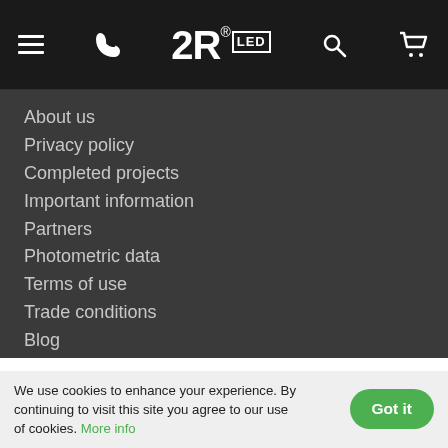2R LED — navigation bar with hamburger menu, phone, logo, search, and cart icons
About us
Privacy policy
Completed projects
Important information
Partners
Photometric data
Terms of use
Trade conditions
Blog
MY PROFILE
My orders
My profile
We use cookies to enhance your experience. By continuing to visit this site you agree to our use of cookies. More info